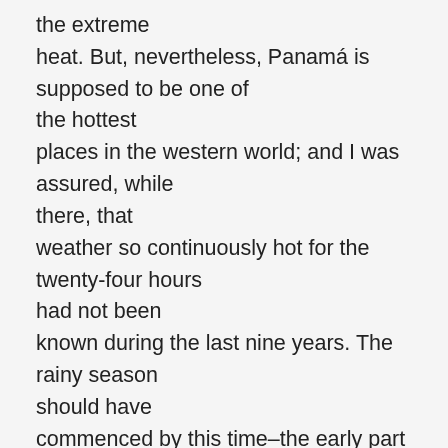the extreme heat. But, nevertheless, Panamá is supposed to be one of the hottest places in the western world; and I was assured, while there, that weather so continuously hot for the twenty-four hours had not been known during the last nine years. The rainy season should have commenced by this time–the early part of May. But it had not done so; and it appeared that when the rain is late, that is the hottest period of the whole year.
The heat made me uncomfortable, but never made me ill. I lost all